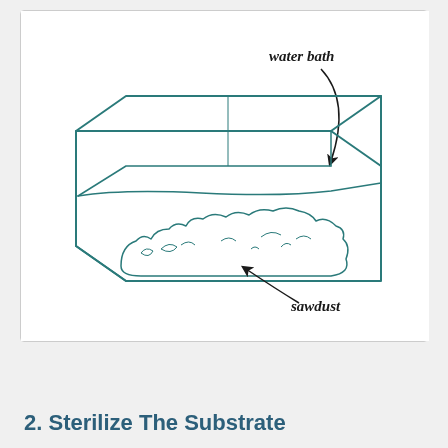[Figure (illustration): Hand-drawn style illustration of a water bath setup: a transparent rectangular container holding sawdust substrate submerged in water. Labels point to 'water bath' (top right, with arrow) and 'sawdust' (bottom right, with arrow).]
2. Sterilize The Substrate